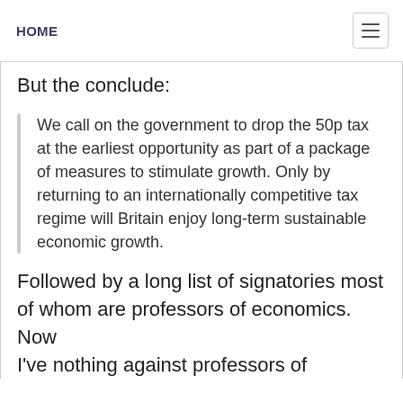HOME
But the conclude:
We call on the government to drop the 50p tax at the earliest opportunity as part of a package of measures to stimulate growth. Only by returning to an internationally competitive tax regime will Britain enjoy long-term sustainable economic growth.
Followed by a long list of signatories most of whom are professors of economics. Now
I've nothing against professors of